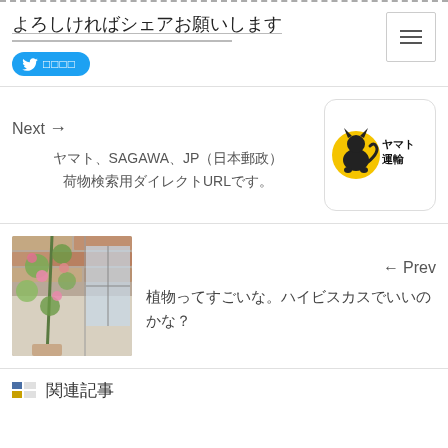よろしければシェアお願いします
[Figure (screenshot): Twitter share button with bird icon and Japanese text]
Next →
ヤマト、SAGAWA、JP（日本郵政）荷物検索用ダイレクトURLです。
[Figure (logo): ヤマト運輸 (Yamato Transport) logo — yellow circle with black cat silhouette]
← Prev
[Figure (photo): Photo of a tall flowering plant (possibly hibiscus) growing against a brick wall near a window]
植物ってすごいな。ハイビスカスでいいのかな？
関連記事